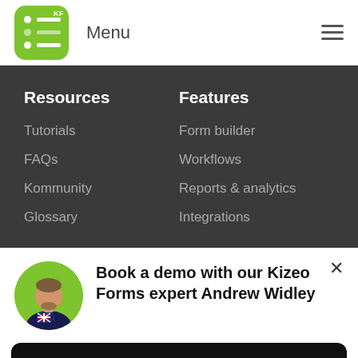Menu
Resources
Tutorials
FAQs
Kommunity
Glossary
Features
Form builder
Workflows
Reports & analytics
Integrations
Book a demo with our Kizeo Forms expert Andrew Widley
Reserve a slot